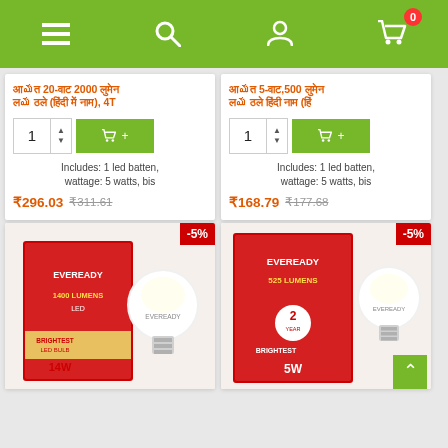[Figure (screenshot): Green navigation bar with hamburger menu, search, user, and shopping cart (badge 0) icons]
Product title in Hindi: 20-वाट 2000 लुमेन ... 4T
Includes: 1 led batten, wattage: 5 watts, bis
₹296.03  ₹311.61
Product title in Hindi: 5-वाट,500 लुमेन ...
Includes: 1 led batten, wattage: 5 watts, bis
₹168.79  ₹177.68
[Figure (photo): Eveready LED bulb product box, 1400 lumens, 14W, red and white packaging with bulb]
[Figure (photo): Eveready LED bulb product box, 525 lumens, 5W, red and white packaging with bulb]